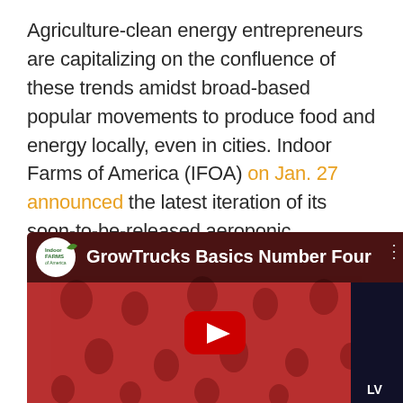Agriculture-clean energy entrepreneurs are capitalizing on the confluence of these trends amidst broad-based popular movements to produce food and energy locally, even in cities. Indoor Farms of America (IFOA) on Jan. 27 announced the latest iteration of its soon-to-be-released aeroponic “Container Farms” will be self-sufficient in terms of both energy and water.
[Figure (screenshot): YouTube video thumbnail/player for 'GrowTrucks Basics Number Four' by Indoor Farms of America channel. Shows a red aeroponic container wall with circular holes, a YouTube play button in the center, and the channel logo in the top bar.]